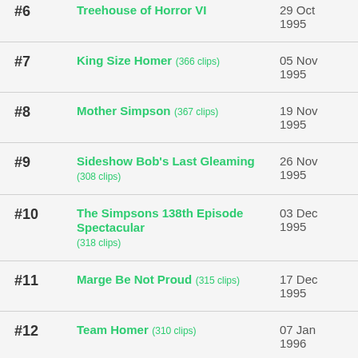| # | Episode | Date |
| --- | --- | --- |
| #6 | Treehouse of Horror VI | 29 Oct 1995 |
| #7 | King Size Homer (366 clips) | 05 Nov 1995 |
| #8 | Mother Simpson (367 clips) | 19 Nov 1995 |
| #9 | Sideshow Bob's Last Gleaming (308 clips) | 26 Nov 1995 |
| #10 | The Simpsons 138th Episode Spectacular (318 clips) | 03 Dec 1995 |
| #11 | Marge Be Not Proud (315 clips) | 17 Dec 1995 |
| #12 | Team Homer (310 clips) | 07 Jan 1996 |
| #13 | Two Bad Neighbors (347 clips) | 14 Jan 1996 |